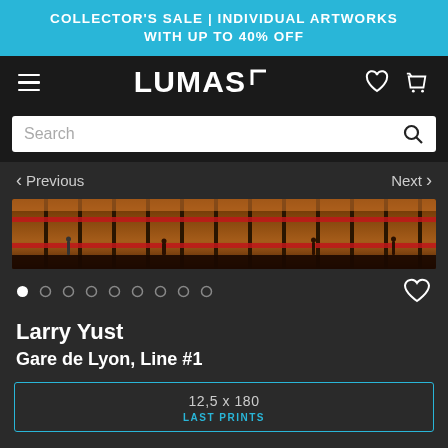COLLECTOR'S SALE | INDIVIDUAL ARTWORKS WITH UP TO 40% OFF
[Figure (screenshot): LUMAS art gallery mobile website screenshot showing navigation bar with hamburger menu, LUMAS logo, heart and cart icons]
[Figure (photo): Panoramic photograph of Gare de Lyon, Line #1 metro station interior, showing warm yellow-orange lit platform with structural columns and commuters]
Larry Yust
Gare de Lyon, Line #1
12,5 x 180
LAST PRINTS
Limited Edition, Edition of: 100, Signed